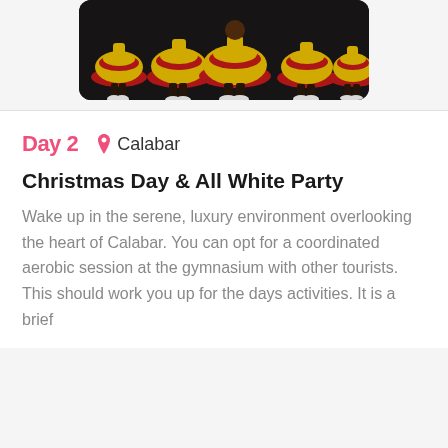[Figure (photo): Performers in yellow and red ruffled carnival costumes dancing on a dark stage, photographed from the waist down showing their skirts and white sneakers.]
Day 2   Calabar
Christmas Day & All White Party
Wake up in the serene, luxury environment overlooking the heart of Calabar. You can opt for a coordinated aerobic session at the gymnasium with other tourists. This should work you up for the days activities. It is a brief